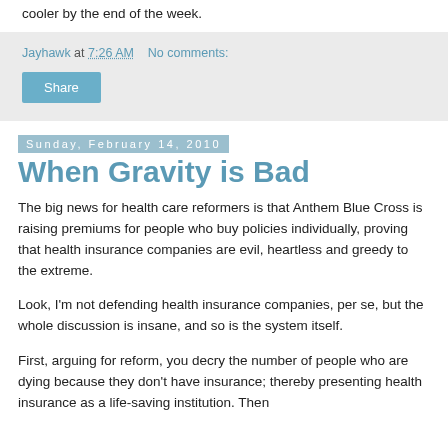cooler by the end of the week.
Jayhawk at 7:26 AM   No comments:
Share
Sunday, February 14, 2010
When Gravity is Bad
The big news for health care reformers is that Anthem Blue Cross is raising premiums for people who buy policies individually, proving that health insurance companies are evil, heartless and greedy to the extreme.
Look, I'm not defending health insurance companies, per se, but the whole discussion is insane, and so is the system itself.
First, arguing for reform, you decry the number of people who are dying because they don't have insurance; thereby presenting health insurance as a life-saving institution. Then